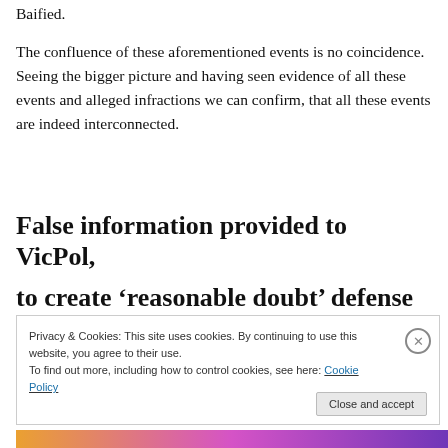Baified.
The confluence of these aforementioned events is no coincidence. Seeing the bigger picture and having seen evidence of all these events and alleged infractions we can confirm, that all these events are indeed interconnected.
False information provided to VicPol, to create ‘reasonable doubt’ defense
Privacy & Cookies: This site uses cookies. By continuing to use this website, you agree to their use.
To find out more, including how to control cookies, see here: Cookie Policy
[Figure (screenshot): Colorful banner image at bottom of page, partially visible]